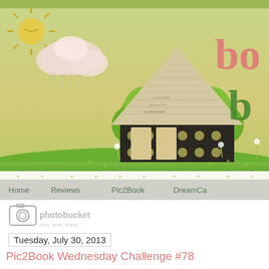[Figure (illustration): Illustrated blog header banner with a whimsical scene: green sky/landscape background, a house made of newspaper collage with green trees on either side, a sun and pink cloud on the left, small dandelion plants, and partial red/green text 'bo' and 'b' on the right side.]
Home   Reviews   Pic2Book   DreamCa
[Figure (logo): Photobucket watermark logo with camera icon and text 'photobucket' and 'burn. store. share.']
Tuesday, July 30, 2013
Pic2Book Wednesday Challenge #78